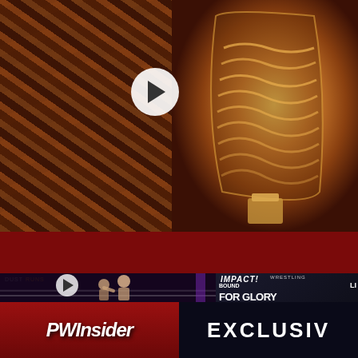[Figure (photo): Video thumbnail showing stacked wooden logs on the left and an illuminated wood veneer lamp shade on the right, with a play button overlay in the center]
[Figure (infographic): Venko Wood advertisement banner with orange logo and text 'Beautiful veneer lamp' with a close/X button on the left]
[Figure (photo): Wrestling video thumbnail showing wrestlers in a ring with a play button overlay, and an Impact Wrestling 'Bound for Glory' promotional panel on the right]
[Figure (photo): Bottom banner with PWInsider logo on the left (red background) and EXCLUSIVE text on the right (dark background)]